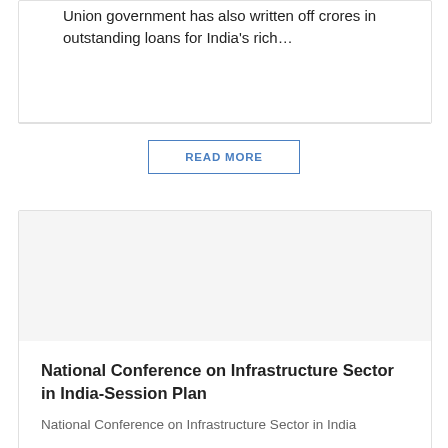Union government has also written off crores in outstanding loans for India's rich…
READ MORE
[Figure (photo): Blank/placeholder image area for the second card]
National Conference on Infrastructure Sector in India-Session Plan
National Conference on Infrastructure Sector in India